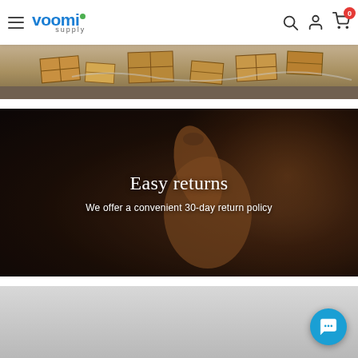voomi supply - navigation header with hamburger menu, logo, search, account, and cart icons
[Figure (photo): Overhead view of shipping boxes/packages on a floor]
[Figure (photo): Dark banner image of a person giving a thumbs up gesture with text overlay: Easy returns - We offer a convenient 30-day return policy]
[Figure (photo): Light gray bottom image strip, partially visible]